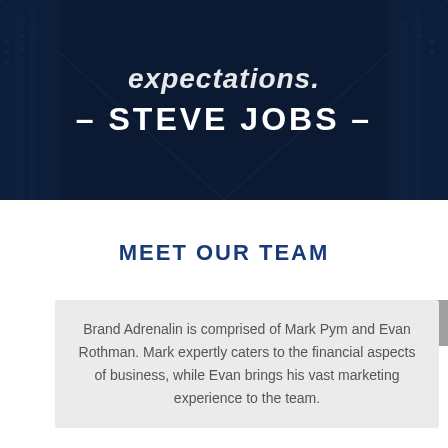[Figure (photo): Dark navy blue hero banner with architectural/building background image showing tall skyscrapers viewed from below, overlaid with the text quote attribution to Steve Jobs]
– STEVE JOBS –
MEET OUR TEAM
Brand Adrenalin is comprised of Mark Pym and Evan Rothman. Mark expertly caters to the financial aspects of business, while Evan brings his vast marketing experience to the team.